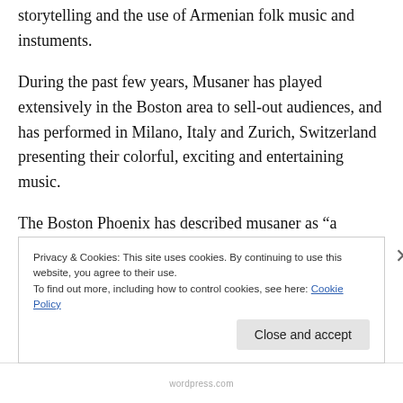storytelling and the use of Armenian folk music and instuments.
During the past few years, Musaner has played extensively in the Boston area to sell-out audiences, and has performed in Milano, Italy and Zurich, Switzerland presenting their colorful, exciting and entertaining music.
The Boston Phoenix has described musaner as “a refreshing, intoxicating brew … played by
Privacy & Cookies: This site uses cookies. By continuing to use this website, you agree to their use.
To find out more, including how to control cookies, see here: Cookie Policy
Close and accept